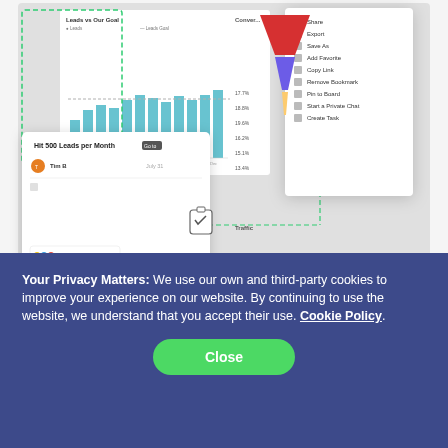[Figure (screenshot): Screenshot of a dashboard interface showing a bar chart titled 'Leads vs Our Goal', a popup card saying 'Hit 500 Leads per Month' assigned to Tim B on July 31, a SMART Goals badge, a clipboard icon, a context menu with options including Share, Export, Save As, Add Favorite, Copy Link, Remove Bookmark, Pin to Board, Start a Private Chat, Create Task, and a partial funnel/pie chart. Green dashed boxes highlight UI elements.]
Why Are SMART Goals
Your Privacy Matters: We use our own and third-party cookies to improve your experience on our website. By continuing to use the website, we understand that you accept their use. Cookie Policy.
Close